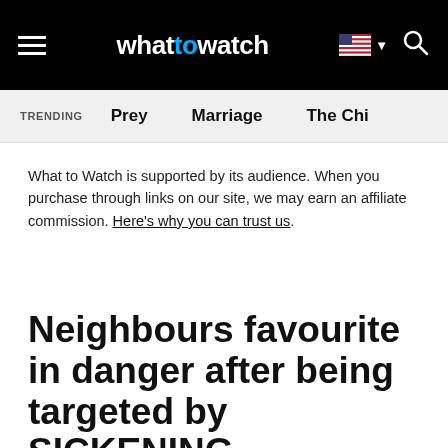whattowatch
TRENDING  Prey  Marriage  The Chi
What to Watch is supported by its audience. When you purchase through links on our site, we may earn an affiliate commission. Here's why you can trust us.
Neighbours favourite in danger after being targeted by SICKENING